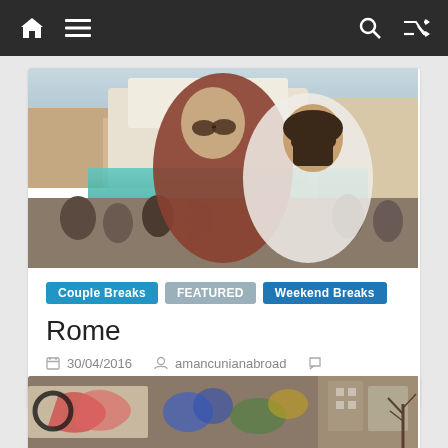Navigation bar with home, menu, search, and shuffle icons
[Figure (photo): Couple selfie at Trevi Fountain in Rome, crowded square, turquoise water, sunny day]
Couple Breaks   FEATURED   Weekend Breaks
Rome
30/04/2016   amancunianabroad   0 Comment
[Figure (photo): Colorful graffiti wall, partial view at bottom of page]